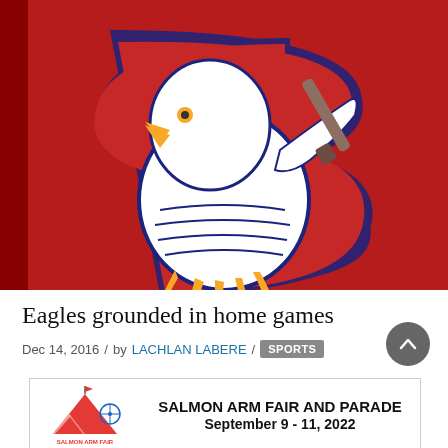[Figure (photo): Eagle mascot logo on a red background — a bald eagle head with yellow beak holding a baseball bat, overlaid on a large red 'S' letter with navy blue border]
Eagles grounded in home games
Dec 14, 2016 / by LACHLAN LABERE / SPORTS
[Figure (logo): Salmon Arm Fair and Parade advertisement banner: logo on the left, text reads 'SALMON ARM FAIR AND PARADE September 9 - 11, 2022']